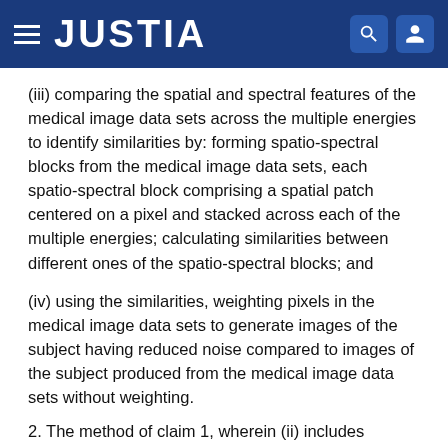JUSTIA
(iii) comparing the spatial and spectral features of the medical image data sets across the multiple energies to identify similarities by: forming spatio-spectral blocks from the medical image data sets, each spatio-spectral block comprising a spatial patch centered on a pixel and stacked across each of the multiple energies; calculating similarities between different ones of the spatio-spectral blocks; and
(iv) using the similarities, weighting pixels in the medical image data sets to generate images of the subject having reduced noise compared to images of the subject produced from the medical image data sets without weighting.
2. The method of claim 1, wherein (ii) includes...